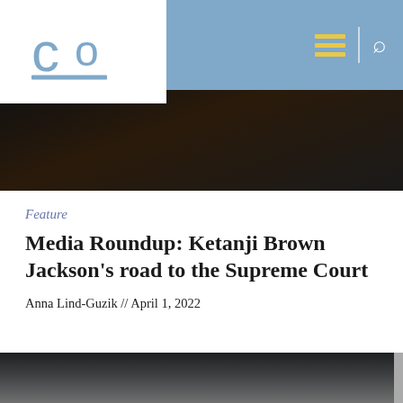Co logo and navigation header
[Figure (photo): Close-up dark photo of a person in dark clothing, partially visible, interior courtroom-like setting]
Feature
Media Roundup: Ketanji Brown Jackson's road to the Supreme Court
Anna Lind-Guzik // April 1, 2022
[Figure (photo): Outdoor photo showing bare winter trees against a gray sky, with building partially visible]